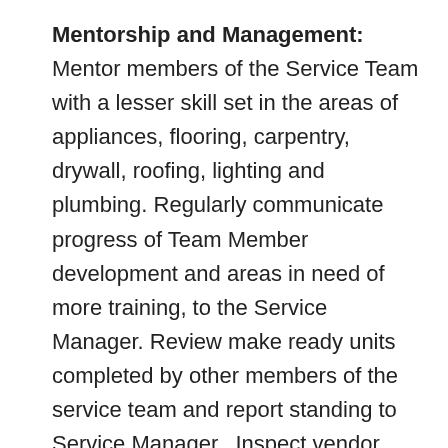Mentorship and Management: Mentor members of the Service Team with a lesser skill set in the areas of appliances, flooring, carpentry, drywall, roofing, lighting and plumbing. Regularly communicate progress of Team Member development and areas in need of more training, to the Service Manager. Review make ready units completed by other members of the service team and report standing to Service Manager.  Inspect vendor work in make ready units and convey status to Service Manager.